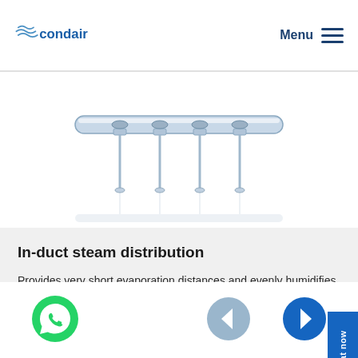condair | Menu
[Figure (engineering-diagram): In-duct steam distribution manifold with multiple nozzle outlets connected to horizontal supply pipe, shown with faint reflection below]
In-duct steam distribution
Provides very short evaporation distances and evenly humidifies ducts without wetting.
Click here